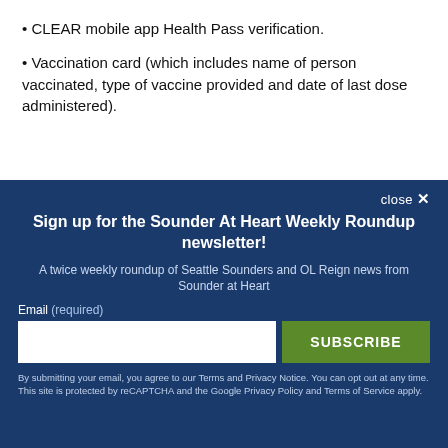CLEAR mobile app Health Pass verification.
Vaccination card (which includes name of person vaccinated, type of vaccine provided and date of last dose administered).
Sign up for the Sounder At Heart Weekly Roundup newsletter!
A twice weekly roundup of Seattle Sounders and OL Reign news from Sounder at Heart
Email (required)
SUBSCRIBE
By submitting your email, you agree to our Terms and Privacy Notice. You can opt out at any time. This site is protected by reCAPTCHA and the Google Privacy Policy and Terms of Service apply.